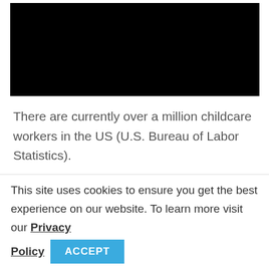[Figure (photo): Black rectangle, image of childcare workers (content not visible, rendered black)]
There are currently over a million childcare workers in the US (U.S. Bureau of Labor Statistics).
This site uses cookies to ensure you get the best experience on our website. To learn more visit our Privacy Policy
ACCEPT